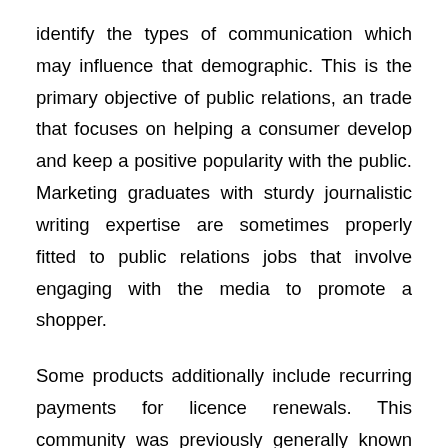identify the types of communication which may influence that demographic. This is the primary objective of public relations, an trade that focuses on helping a consumer develop and keep a positive popularity with the public. Marketing graduates with sturdy journalistic writing expertise are sometimes properly fitted to public relations jobs that involve engaging with the media to promote a shopper.
Some products additionally include recurring payments for licence renewals. This community was previously generally known as LinkShare, and was just lately placed number one in the Blue Book Top 20 CPS Affiliate Networks 2016. Whilst being a smaller network, and thus less suited to those starting out,